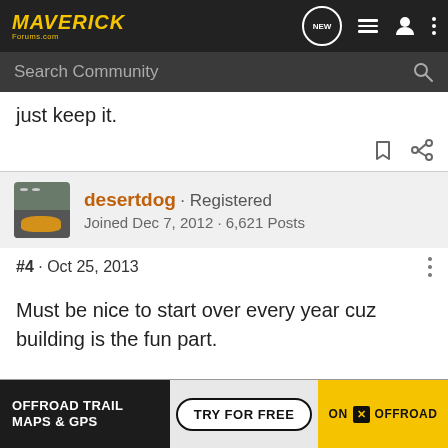MAVERICK Forums
just keep it.
desertdog · Registered
Joined Dec 7, 2012 · 6,621 Posts
#4 · Oct 25, 2013
Must be nice to start over every year cuz building is the fun part.
[Figure (infographic): Advertisement banner for OFFROAD TRAIL MAPS & GPS - TRY FOR FREE - ON X OFFROAD]